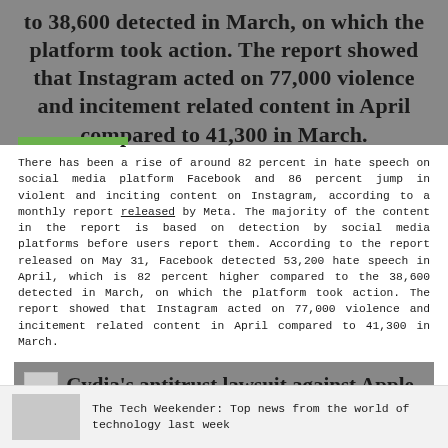to 38,600 detected in March, on which the platform took action. The report showed that Instagram acted on 77,000 violence and incitement related content in April compared to 41,300 in March.
There has been a rise of around 82 percent in hate speech on social media platform Facebook and 86 percent jump in violent and inciting content on Instagram, according to a monthly report released by Meta. The majority of the content in the report is based on detection by social media platforms before users report them. According to the report released on May 31, Facebook detected 53,200 hate speech in April, which is 82 percent higher compared to the 38,600 detected in March, on which the platform took action. The report showed that Instagram acted on 77,000 violence and incitement related content in April compared to 41,300 in March.
Cydia's antitrust lawsuit against Apple will now be moving forward after Apple
The Tech Weekender: Top news from the world of technology last week